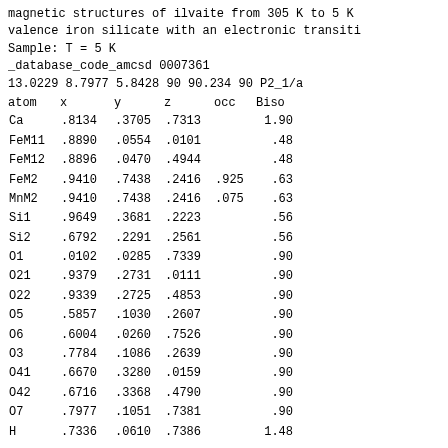magnetic structures of ilvaite from 305 K to 5 K
valence iron silicate with an electronic transit
Sample: T = 5 K
_database_code_amcsd 0007361
13.0229 8.7977 5.8428 90 90.234 90 P2_1/a
| atom | x | y | z | occ | Biso |
| --- | --- | --- | --- | --- | --- |
| Ca | .8134 | .3705 | .7313 |  | 1.90 |
| FeM11 | .8890 | .0554 | .0101 |  | .48 |
| FeM12 | .8896 | .0470 | .4944 |  | .48 |
| FeM2 | .9410 | .7438 | .2416 | .925 | .63 |
| MnM2 | .9410 | .7438 | .2416 | .075 | .63 |
| Si1 | .9649 | .3681 | .2223 |  | .56 |
| Si2 | .6792 | .2291 | .2561 |  | .56 |
| O1 | .0102 | .0285 | .7339 |  | .90 |
| O21 | .9379 | .2731 | .0111 |  | .90 |
| O22 | .9339 | .2725 | .4853 |  | .90 |
| O5 | .5857 | .1030 | .2607 |  | .90 |
| O6 | .6004 | .0260 | .7526 |  | .90 |
| O3 | .7784 | .1086 | .2639 |  | .90 |
| O41 | .6670 | .3280 | .0159 |  | .90 |
| O42 | .6716 | .3368 | .4790 |  | .90 |
| O7 | .7977 | .1051 | .7381 |  | .90 |
| H | .7336 | .0610 | .7386 |  | 1.48 |
Download AMC data (View Text File)
Download CIF data (View Text File)